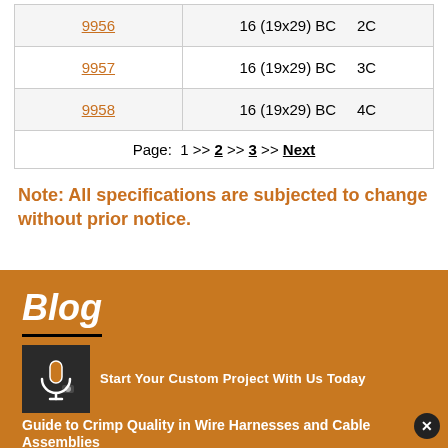| Part | Spec | Config |
| --- | --- | --- |
| 9956 | 16 (19x29) BC | 2C |
| 9957 | 16 (19x29) BC | 3C |
| 9958 | 16 (19x29) BC | 4C |
Page: 1 >> 2 >> 3 >> Next
Note: All specifications are subjected to change without prior notice.
Blog
Start Your Custom Project With Us Today
Guide to Crimp Quality in Wire Harnesses and Cable Assemblies